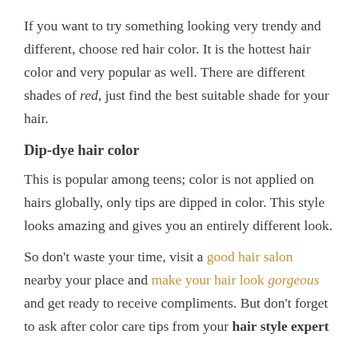If you want to try something looking very trendy and different, choose red hair color. It is the hottest hair color and very popular as well. There are different shades of red, just find the best suitable shade for your hair.
Dip-dye hair color
This is popular among teens; color is not applied on hairs globally, only tips are dipped in color. This style looks amazing and gives you an entirely different look.
So don't waste your time, visit a good hair salon nearby your place and make your hair look gorgeous and get ready to receive compliments. But don't forget to ask after color care tips from your hair style expert